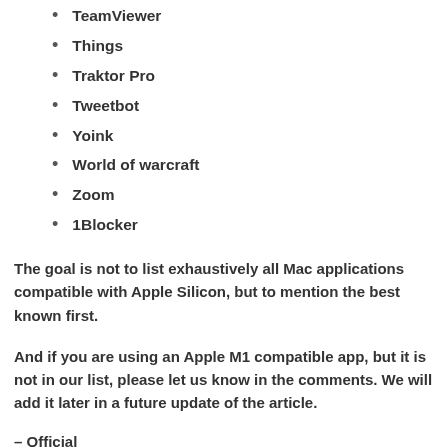TeamViewer
Things
Traktor Pro
Tweetbot
Yoink
World of warcraft
Zoom
1Blocker
The goal is not to list exhaustively all Mac applications compatible with Apple Silicon, but to mention the best known first.
And if you are using an Apple M1 compatible app, but it is not in our list, please let us know in the comments. We will add it later in a future update of the article.
– Official